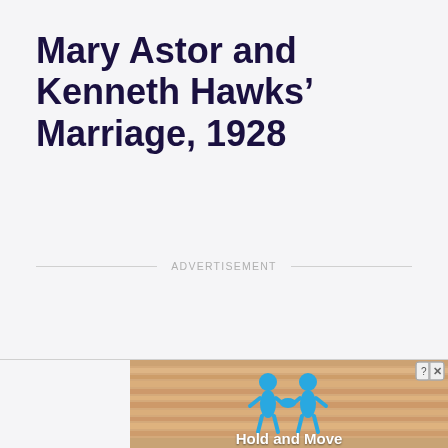Mary Astor and Kenneth Hawks’ Marriage, 1928
ADVERTISEMENT
[Figure (screenshot): Advertisement banner showing animated figures holding hands with text 'Hold and Move' and close/help buttons]